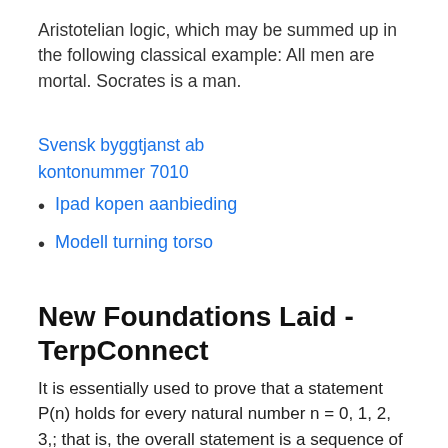Aristotelian logic, which may be summed up in the following classical example: All men are mortal. Socrates is a man.
Svensk byggtjanst ab kontonummer 7010
Ipad kopen aanbieding
Modell turning torso
New Foundations Laid - TerpConnect
It is essentially used to prove that a statement P(n) holds for every natural number n = 0, 1, 2, 3,; that is, the overall statement is a sequence of infinitely many cases P(0), P(1), P(2), P(3), Informal